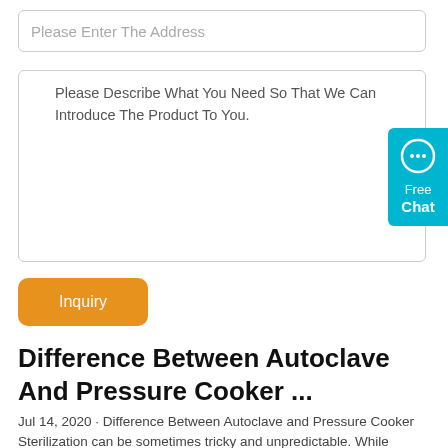Please Enter The Address
* Please Describe What You Need So That We Can Introduce The Product To You.
Inquiry
[Figure (other): Free Chat button widget with speech bubble icon, cyan/teal background, partially visible on right edge]
Difference Between Autoclave And Pressure Cooker ...
Jul 14, 2020 · Difference Between Autoclave and Pressure Cooker Sterilization can be sometimes tricky and unpredictable. While